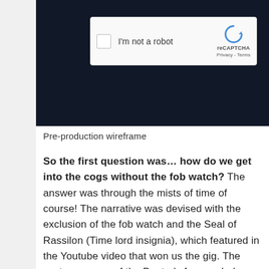[Figure (screenshot): reCAPTCHA widget with checkbox labeled 'I'm not a robot' on a dark navy background, showing the reCAPTCHA logo and Privacy/Terms links]
Pre-production wireframe
So the first question was… how do we get into the cogs without the fob watch? The answer was through the mists of time of course! The narrative was devised with the exclusion of the fob watch and the Seal of Rassilon (Time lord insignia), which featured in the Youtube video that won us the gig. The customary use of the Doctor's face ended up having a more ghostly